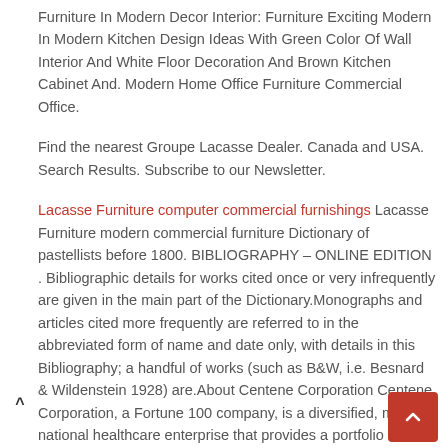Furniture In Modern Decor Interior: Furniture Exciting Modern In Modern Kitchen Design Ideas With Green Color Of Wall Interior And White Floor Decoration And Brown Kitchen Cabinet And. Modern Home Office Furniture Commercial Office.
Find the nearest Groupe Lacasse Dealer. Canada and USA. Search Results. Subscribe to our Newsletter.
Lacasse Furniture computer commercial furnishings Lacasse Furniture modern commercial furniture Dictionary of pastellists before 1800. BIBLIOGRAPHY – ONLINE EDITION . Bibliographic details for works cited once or very infrequently are given in the main part of the Dictionary.Monographs and articles cited more frequently are referred to in the abbreviated form of name and date only, with details in this Bibliography; a handful of works (such as B&W, i.e. Besnard & Wildenstein 1928) are.About Centene Corporation Centene Corporation, a Fortune 100 company, is a diversified, multi-national healthcare enterprise that provides a portfolio of services to government sponsored and.
The editors of Furniture World magazine don't very often find an aura of fun hovering over a home furnishings industry press